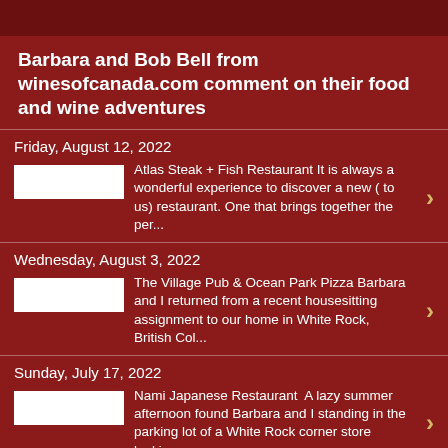Barbara and Bob Bell from winesofcanada.com comment on their food and wine adventures
Friday, August 12, 2022
Atlas Steak + Fish Restaurant It is always a wonderful experience to discover a new ( to us) restaurant. One that brings together the per...
Wednesday, August 3, 2022
The Village Pub & Ocean Park Pizza Barbara and I returned from a recent housesitting assignment to our home in White Rock, British Col...
Sunday, July 17, 2022
Nami Japanese Restaurant  A lazy summer afternoon found Barbara and I standing in the parking lot of a White Rock corner store looking acr...
Saturday, June 18, 2022